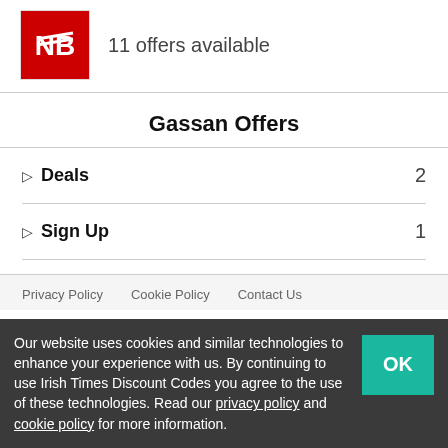[Figure (logo): New Balance red logo with white NB mark]
11 offers available
Gassan Offers
Deals  2
Sign Up  1
Privacy Policy   Cookie Policy   Contact Us
Our website uses cookies and similar technologies to enhance your experience with us. By continuing to use Irish Times Discount Codes you agree to the use of these technologies. Read our privacy policy and cookie policy for more information.